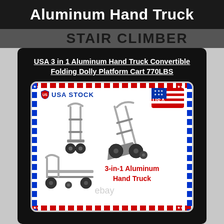Aluminum Hand Truck
STAIR CLIMBER
USA 3 in 1 Aluminum Hand Truck Convertible Folding Dolly Platform Cart 770LBS
[Figure (photo): Product listing image showing a 3-in-1 Aluminum Hand Truck in three configurations (upright dolly, stair climber, and flat platform cart), with USA STOCK badge and patriotic red-white-blue border. Text reads '3-in-1 Aluminum Hand Truck' and 'ebay' watermark.]